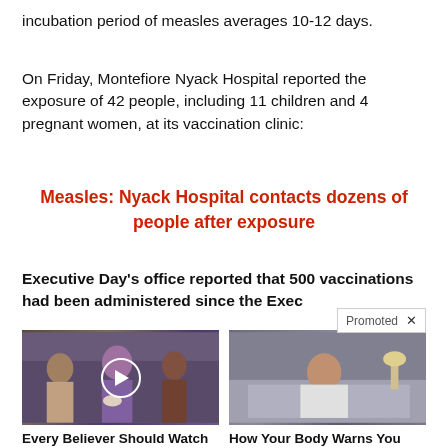incubation period of measles averages 10-12 days.
On Friday, Montefiore Nyack Hospital reported the exposure of 42 people, including 11 children and 4 pregnant women, at its vaccination clinic:
Measles: Nyack Hospital contacts dozens of people after exposure
Executive Day's office reported that 500 vaccinations had been administered since the Exec[tion S...]
[Figure (photo): Promoted ad banner with two images: left image shows politicians with a play button overlay (video thumbnail), right image shows a person sitting on a bed. Ad captions: 'Every Believer Should Watch This (It Will Blow Your Mind)' with 378,372 engagements, and 'How Your Body Warns You That Dementia Is Forming' with 57,909 engagements.]